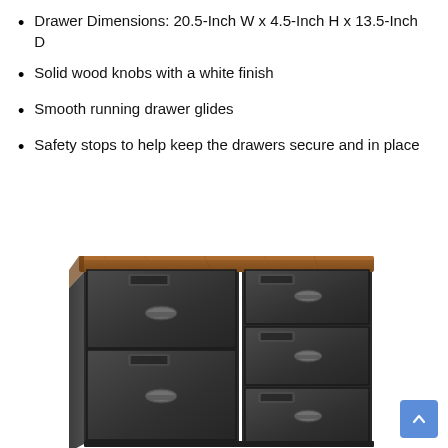Drawer Dimensions: 20.5-Inch W x 4.5-Inch H x 13.5-Inch D
Solid wood knobs with a white finish
Smooth running drawer glides
Safety stops to help keep the drawers secure and in place
[Figure (photo): A dark industrial-style dresser with a rustic brown wooden top and multiple dark grey drawers with metal cup pulls and label holders, viewed from a slight angle.]